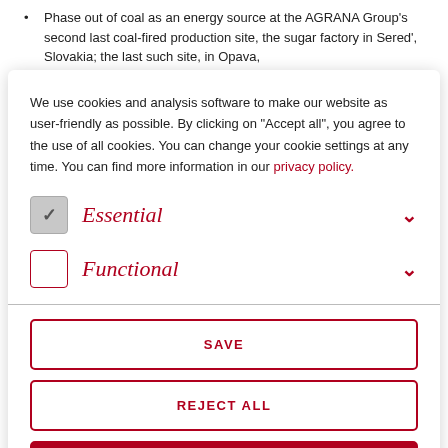Phase out of coal as an energy source at the AGRANA Group's second last coal-fired production site, the sugar factory in Sered', Slovakia; the last such site, in Opava,
We use cookies and analysis software to make our website as user-friendly as possible. By clicking on "Accept all", you agree to the use of all cookies. You can change your cookie settings at any time. You can find more information in our privacy policy.
Essential
Functional
SAVE
REJECT ALL
ACCEPT ALL